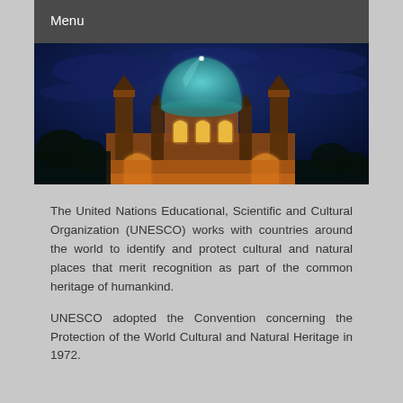Menu
[Figure (photo): Illuminated dome of a mosque or historic building at night against a deep blue sky, showing a teal/blue dome with gothic-style arches and warm orange-lit stone walls below]
The United Nations Educational, Scientific and Cultural Organization (UNESCO) works with countries around the world to identify and protect cultural and natural places that merit recognition as part of the common heritage of humankind.
UNESCO adopted the Convention concerning the Protection of the World Cultural and Natural Heritage in 1972.